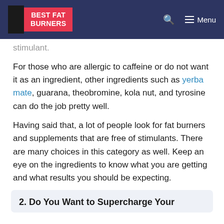BEST FAT BURNERS | Menu
stimulant.
For those who are allergic to caffeine or do not want it as an ingredient, other ingredients such as yerba mate, guarana, theobromine, kola nut, and tyrosine can do the job pretty well.
Having said that, a lot of people look for fat burners and supplements that are free of stimulants. There are many choices in this category as well. Keep an eye on the ingredients to know what you are getting and what results you should be expecting.
2. Do You Want to Supercharge Your